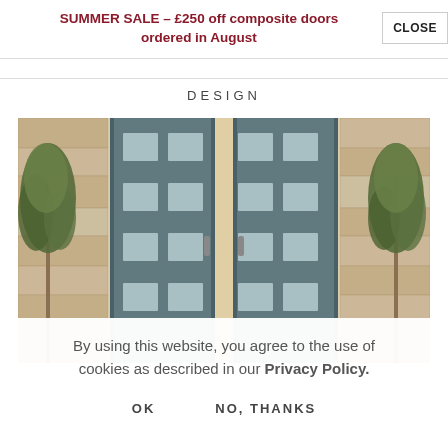SUMMER SALE – £250 off composite doors ordered in August
DESIGN
[Figure (photo): Double composite doors in grey-blue colour, open inward, set in a stone-clad facade with trees on either side]
By using this website, you agree to the use of cookies as described in our Privacy Policy.
OK    NO, THANKS